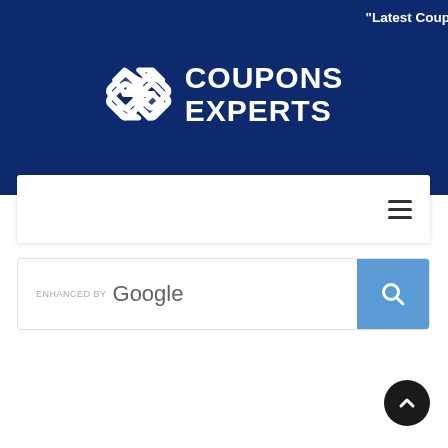"Latest Coup
[Figure (logo): Coupons Experts logo with geometric chain-link icon and white bold text reading COUPONS EXPERTS on dark navy background]
[Figure (screenshot): Navigation bar with hamburger menu icon on white background]
[Figure (screenshot): Google enhanced search bar with blue search button]
[Figure (other): Scroll-to-top circular button with upward chevron, dark background]